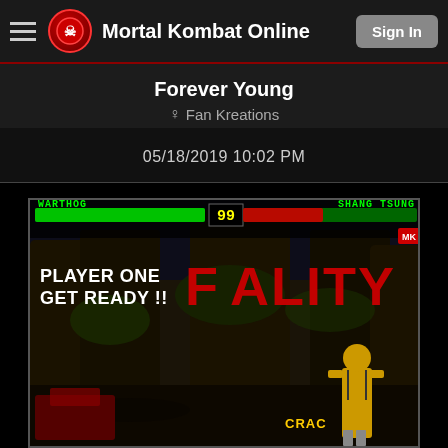Mortal Kombat Online | Sign In
Forever Young
Fan Kreations
05/18/2019 10:02 PM
[Figure (screenshot): Mortal Kombat video game screenshot showing a Fatality screen. Player One 'Warthog' vs 'Shang Tsung'. Health bars visible at top. Text reads PLAYER ONE GET READY !! and FATALITY. Timer shows 99. Background is a dark forest/Living Forest stage with Shang Tsung character visible on right side. Bottom shows CRACK text.]